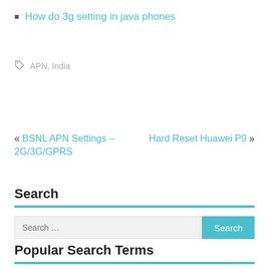How do 3g setting in java phones
APN, India
« BSNL APN Settings – 2G/3G/GPRS
Hard Reset Huawei P9 »
Search
Popular Search Terms
sony xperia XP